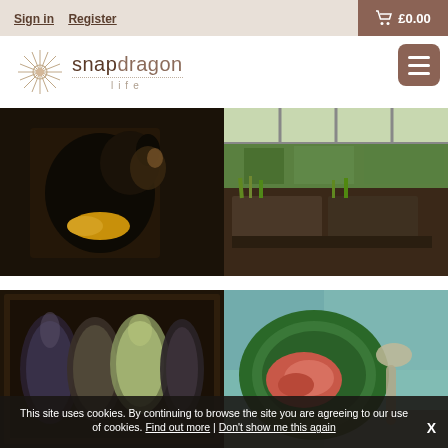Sign in | Register | £0.00
[Figure (logo): Snapdragon Life logo with snowflake icon and dotted underline]
[Figure (photo): Dog with colorful knitted item in dark studio setting]
[Figure (photo): Greenhouse with plants and seedlings trays, outdoor garden view]
[Figure (photo): Hanks of yarn in dark wooden frame setting]
[Figure (photo): Green plate with food on decorative surface with spoon]
This site uses cookies. By continuing to browse the site you are agreeing to our use of cookies. Find out more | Don't show me this again  X